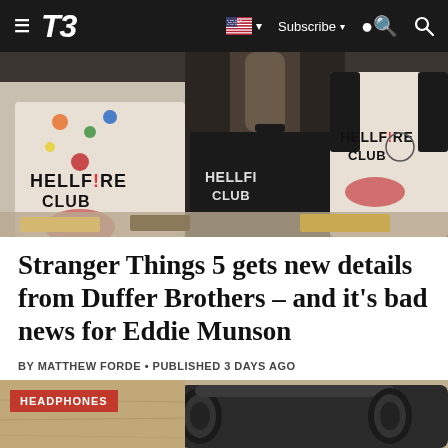T3 — Subscribe
[Figure (photo): Three people wearing Hellfire Club t-shirts from Stranger Things, seated at a table with food trays]
Stranger Things 5 gets new details from Duffer Brothers – and it's bad news for Eddie Munson
BY MATTHEW FORDE • PUBLISHED 3 DAYS AGO
[Figure (photo): Close-up of headphones on a sandy surface]
HEADPHONES